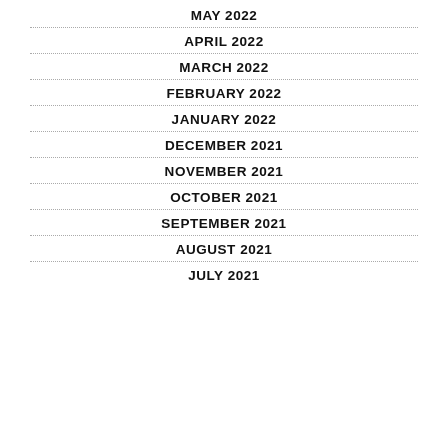MAY 2022
APRIL 2022
MARCH 2022
FEBRUARY 2022
JANUARY 2022
DECEMBER 2021
NOVEMBER 2021
OCTOBER 2021
SEPTEMBER 2021
AUGUST 2021
JULY 2021